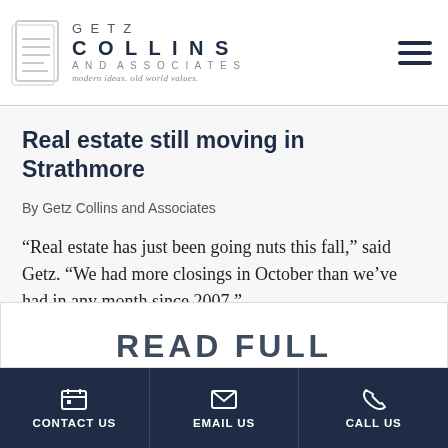Getz Collins and Associates — modern ideas. old world values.
Real estate still moving in Strathmore
By Getz Collins and Associates
“Real estate has just been going nuts this fall,” said Getz. “We had more closings in October than we’ve had in any month since 2007.”
CONTACT US | EMAIL US | CALL US